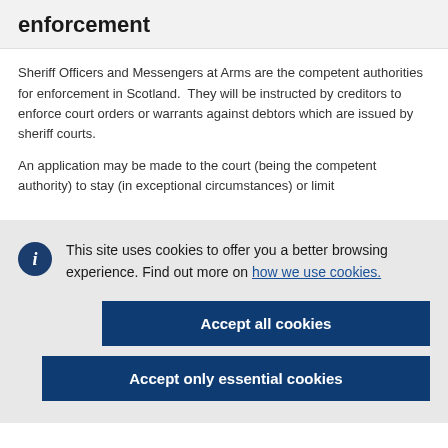enforcement
Sheriff Officers and Messengers at Arms are the competent authorities for enforcement in Scotland.  They will be instructed by creditors to enforce court orders or warrants against debtors which are issued by sheriff courts.
An application may be made to the court (being the competent authority) to stay (in exceptional circumstances) or limit
This site uses cookies to offer you a better browsing experience. Find out more on how we use cookies.
Accept all cookies
Accept only essential cookies